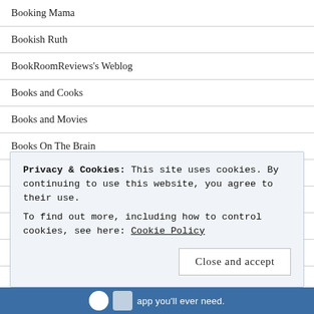Booking Mama
Bookish Ruth
BookRoomReviews's Weblog
Books and Cooks
Books and Movies
Books On The Brain
Camouflaged Wife by Dr. Summer Watson
Care's Online Book Club
Curly Wurly Gurly
Delicious Distractions
Privacy & Cookies: This site uses cookies. By continuing to use this website, you agree to their use.
To find out more, including how to control cookies, see here: Cookie Policy
Close and accept